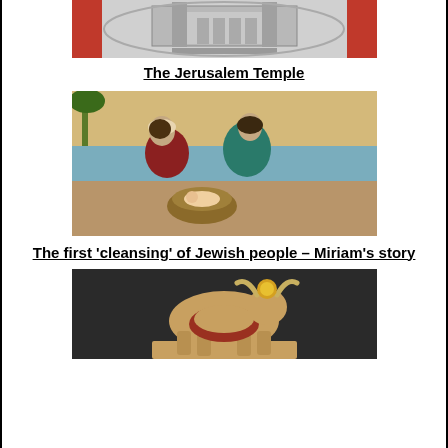[Figure (photo): Coin or medallion depicting the Jerusalem Temple, silver-colored with architectural details on red background]
The Jerusalem Temple
[Figure (photo): Painting of two women, one in red and one in teal, kneeling by a river or water with a basket containing a baby]
The first 'cleansing' of Jewish people – Miriam's story
[Figure (photo): Golden/bronze statue of a bull or bovine figure with horns and a sun disk on its head, on a reddish base]